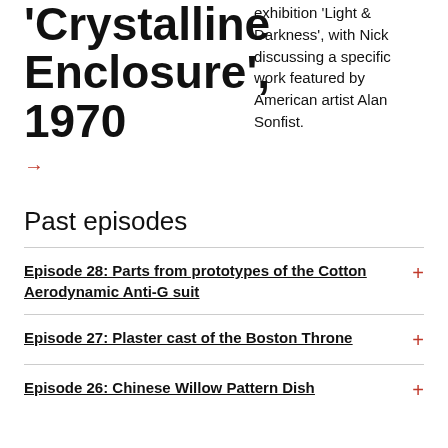Crystalline Enclosure', 1970
exhibition 'Light & Darkness', with Nick discussing a specific work featured by American artist Alan Sonfist.
→
Past episodes
Episode 28: Parts from prototypes of the Cotton Aerodynamic Anti-G suit
Episode 27: Plaster cast of the Boston Throne
Episode 26: Chinese Willow Pattern Dish